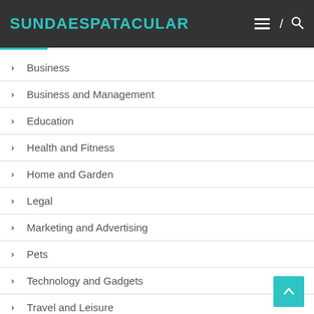SUNDAESPATACULAR
Business
Business and Management
Education
Health and Fitness
Home and Garden
Legal
Marketing and Advertising
Pets
Technology and Gadgets
Travel and Leisure